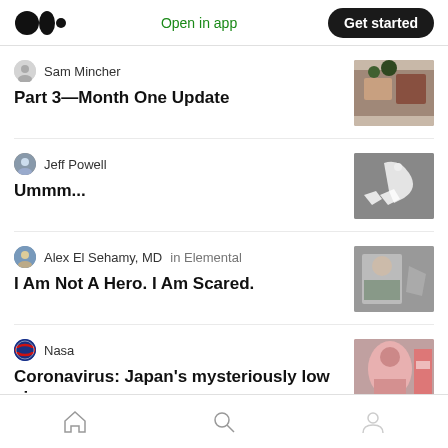Open in app | Get started
Sam Mincher
Part 3—Month One Update
Jeff Powell
Ummm...
Alex El Sehamy, MD in Elemental
I Am Not A Hero. I Am Scared.
Nasa
Coronavirus: Japan's mysteriously low virus death rate
Home | Search | Profile